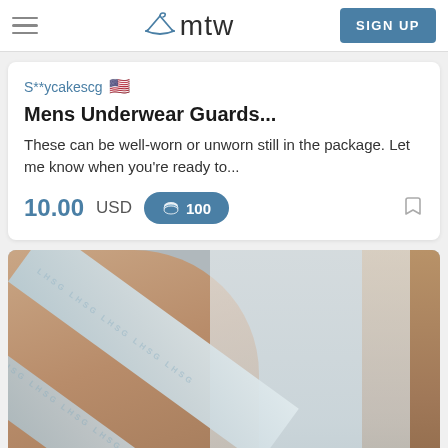mtw — SIGN UP
S**ycakescg
Mens Underwear Guards...
These can be well-worn or unworn still in the package. Let me know when you're ready to...
10.00 USD  100
[Figure (photo): Close-up photo of a person wearing white underwear with a diagonal strap/band visible, along with skin and a white shirt sleeve on the right.]